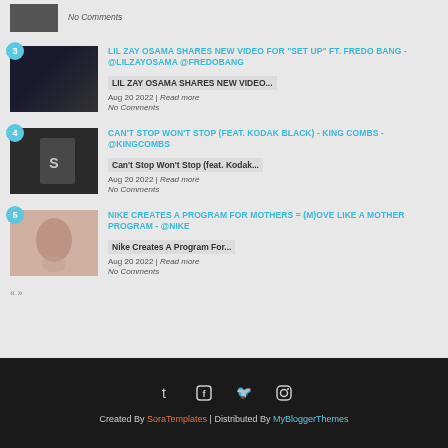[Figure (screenshot): Partial top stub showing thumbnail image and No Comments text]
No Comments
[Figure (screenshot): Item 3 thumbnail - dark scene with people]
LIL ZAY OSAMA SHARES NEW VIDEO FOR "SET UP" FT. FREDO BANG - @LILZAYOSAMA @FREDOBANG
LIL ZAY OSAMA SHARES NEW VIDEO...
Aug 20 2022 | Read more
No Comments
[Figure (screenshot): Item 4 thumbnail - Can't Stop Won't Stop King Combs album art]
CAN'T STOP WON'T STOP (FEAT. KODAK BLACK) - KING COMBS - @KINGCOMBS
Can't Stop Won't Stop (feat. Kodak...
Aug 20 2022 | Read more
No Comments
[Figure (screenshot): Item 5 thumbnail - Nike mother program image]
NIKE CREATES A PROGRAM FOR MOTHERS = (M)OVE LIKE A MOTHER PROGRAM - @NIKE
Nike Creates A Program For...
Aug 20 2022 | Read more
No Comments
Created By SoraTemplates | Distributed By MyBloggerThemes